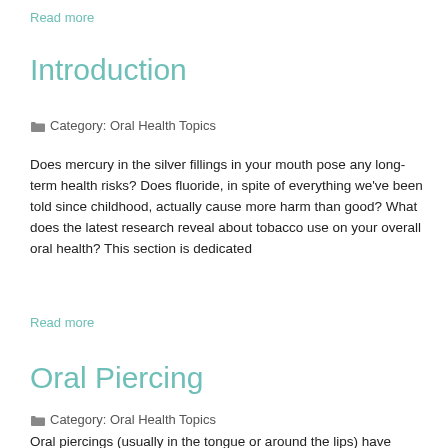Read more
Introduction
Category: Oral Health Topics
Does mercury in the silver fillings in your mouth pose any long-term health risks? Does fluoride, in spite of everything we've been told since childhood, actually cause more harm than good? What does the latest research reveal about tobacco use on your overall oral health? This section is dedicated
Read more
Oral Piercing
Category: Oral Health Topics
Oral piercings (usually in the tongue or around the lips) have quickly become a popular                                    . With this